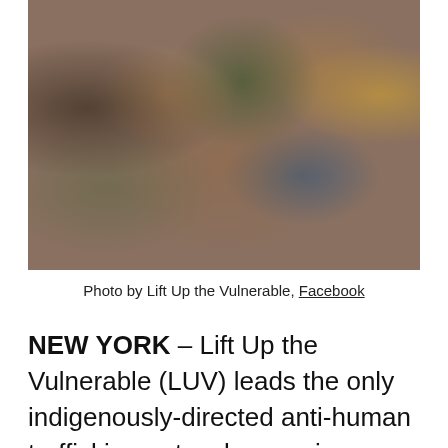[Figure (photo): Group photo of many children and youth, smiling, outdoors in Africa, associated with Lift Up the Vulnerable organization.]
Photo by Lift Up the Vulnerable, Facebook
NEW YORK – Lift Up the Vulnerable (LUV) leads the only indigenously-directed anti-human trafficking network spanning Sudan and South Sudan. Overview of Sudan and South Sudan The residents of the two countries have